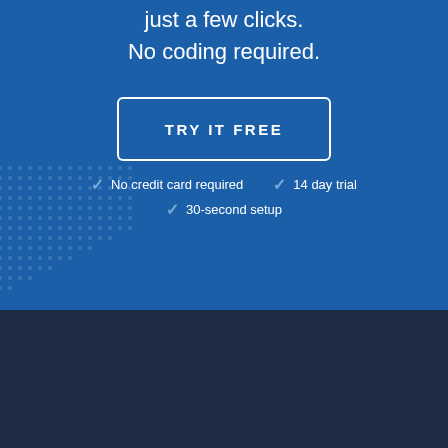just a few clicks.
No coding required.
[Figure (other): Blue rectangular button with white border and text 'TRY IT FREE']
No credit card required
14 day trial
30-second setup
PRODUCT